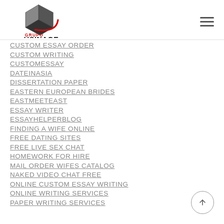[Figure (logo): Grupo Usinage logo with 3D cube graphic and red/black text]
CUSTOM ESSAY ORDER
CUSTOM WRITING
CUSTOMESSAY
DATEINASIA
DISSERTATION PAPER
EASTERN EUROPEAN BRIDES
EASTMEETEAST
ESSAY WRITER
ESSAYHELPERBLOG
FINDING A WIFE ONLINE
FREE DATING SITES
FREE LIVE SEX CHAT
HOMEWORK FOR HIRE
MAIL ORDER WIFES CATALOG
NAKED VIDEO CHAT FREE
ONLINE CUSTOM ESSAY WRITING
ONLINE WRITING SERVICES
PAPER WRITING SERVICES